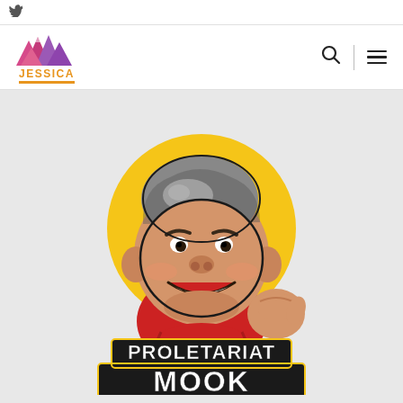Twitter icon / social link
[Figure (logo): JESSICA website logo with mountain silhouette in pink/purple colors and orange text 'JESSICA' with orange underline bar]
[Figure (logo): Proletariat Mook mascot logo: cartoon illustration of a stocky smiling man with gray hair, tan skin, red shirt, fist raised, on a yellow circle background. Text reads 'PROLETARIAT MOOK' in bold white outlined black block letters.]